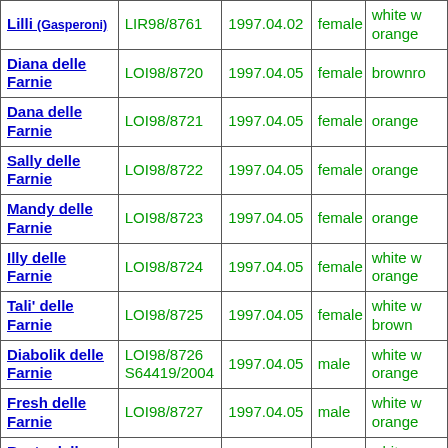| Name | Registration | Date | Sex | Color |
| --- | --- | --- | --- | --- |
| Lilli (Gasperoni) | LIR98/8761 | 1997.04.02 | female | white w orange |
| Diana delle Farnie | LOI98/8720 | 1997.04.05 | female | brownro |
| Dana delle Farnie | LOI98/8721 | 1997.04.05 | female | orange |
| Sally delle Farnie | LOI98/8722 | 1997.04.05 | female | orange |
| Mandy delle Farnie | LOI98/8723 | 1997.04.05 | female | orange |
| Illy delle Farnie | LOI98/8724 | 1997.04.05 | female | white w orange |
| Tali' delle Farnie | LOI98/8725 | 1997.04.05 | female | white w brown |
| Diabolik delle Farnie | LOI98/8726 S64419/2004 | 1997.04.05 | male | white w orange |
| Fresh delle Farnie | LOI98/8727 | 1997.04.05 | male | white w orange |
| Rasto delle Tre T | LIR98/40231 | 1997.05.19 | male | white w brown |
| Tom delle Tre T | LIR98/40234 | 1997.05.19 | male | white w brown |
| Tecla delle Tre T | LIR98/40236 | 1997.05.19 | female | white w orange |
|  |  |  |  | white w |